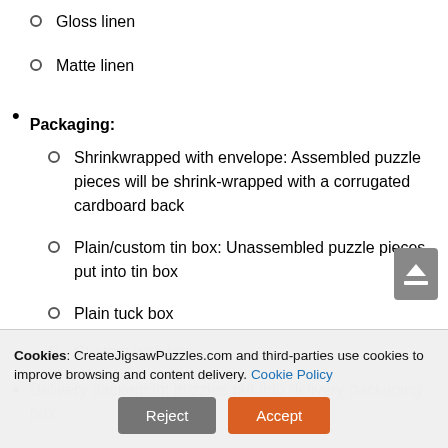Gloss linen
Matte linen
Packaging:
Shrinkwrapped with envelope: Assembled puzzle pieces will be shrink-wrapped with a corrugated cardboard back
Plain/custom tin box: Unassembled puzzle pieces put into tin box
Plain tuck box
Custom tuck box
Delivery packaging: puzzles put into delivery packaging box
Cookies: CreateJigsawPuzzles.com and third-parties use cookies to improve browsing and content delivery. Cookie Policy